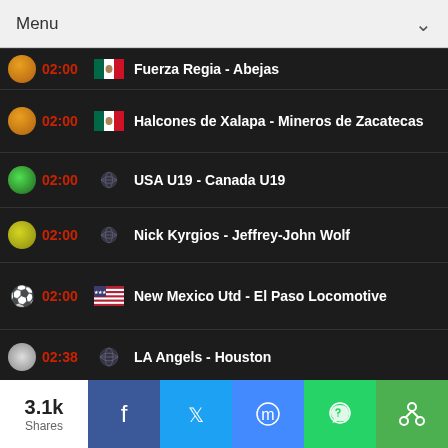Menu
02:00 Fuerza Regia - Abejas
02:00 Halcones de Xalapa - Mineros de Zacatecas
02:00 USA U19 - Canada U19
02:00 Nick Kyrgios - Jeffrey-John Wolf
02:00 New Mexico Utd - El Paso Locomotive
02:38 LA Angels - Houston
02:40 Arizona - Milwaukee
02:40 Venezuela - Panama
3.1k Shares